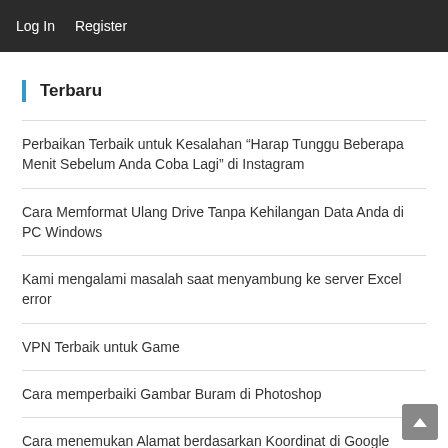Log In  Register
Terbaru
Perbaikan Terbaik untuk Kesalahan “Harap Tunggu Beberapa Menit Sebelum Anda Coba Lagi” di Instagram
Cara Memformat Ulang Drive Tanpa Kehilangan Data Anda di PC Windows
Kami mengalami masalah saat menyambung ke server Excel error
VPN Terbaik untuk Game
Cara memperbaiki Gambar Buram di Photoshop
Cara menemukan Alamat berdasarkan Koordinat di Google Earth
Spesifikasi UEFI 2.10 + ACPI 6.5 Dirilis Dengan Pembaruan Untuk